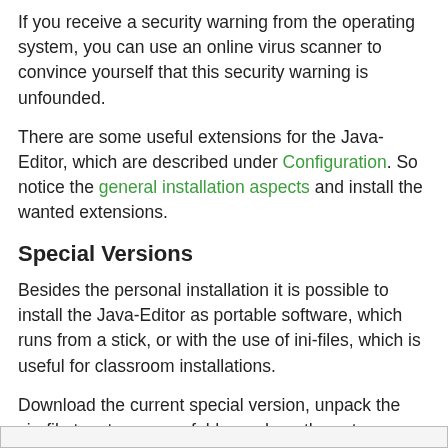If you receive a security warning from the operating system, you can use an online virus scanner to convince yourself that this security warning is unfounded.
There are some useful extensions for the Java-Editor, which are described under Configuration. So notice the general installation aspects and install the wanted extensions.
Special Versions
Besides the personal installation it is possible to install the Java-Editor as portable software, which runs from a stick, or with the use of ini-files, which is useful for classroom installations.
Download the current special version, unpack the zip-file to a temporary folder and run the setup.exe program as administrator.
[Figure (other): Bottom navigation bar partially visible at the bottom of the page]